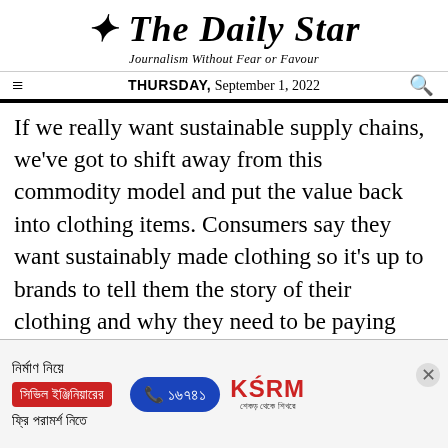The Daily Star — Journalism Without Fear or Favour — THURSDAY, September 1, 2022
If we really want sustainable supply chains, we've got to shift away from this commodity model and put the value back into clothing items. Consumers say they want sustainably made clothing so it's up to brands to tell them the story of their clothing and why they need to be paying more for it.
Mostafiz Uddin is the Managing Director of Denim Expert Limited. He is also the Founder
[Figure (advertisement): KSRM advertisement in Bengali for civil engineering consultation services, phone number 16741, with red and blue design elements and KSRM logo]